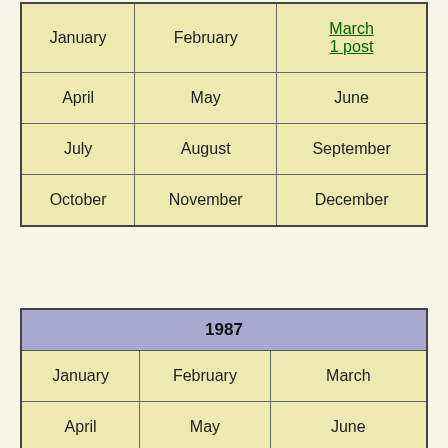| (year header - partial, top cut off) |
| --- |
| January | February | March
1 post |
| April | May | June |
| July | August | September |
| October | November | December |
| 1987 |
| --- |
| January | February | March |
| April | May | June |
| July | August | September |